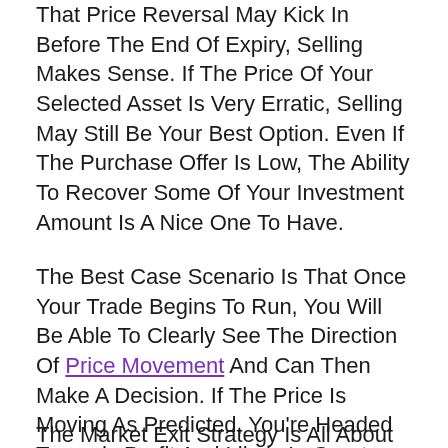That Price Reversal May Kick In Before The End Of Expiry, Selling Makes Sense. If The Price Of Your Selected Asset Is Very Erratic, Selling May Still Be Your Best Option. Even If The Purchase Offer Is Low, The Ability To Recover Some Of Your Investment Amount Is A Nice One To Have.
The Best Case Scenario Is That Once Your Trade Begins To Run, You Will Be Able To Clearly See The Direction Of Price Movement And Can Then Make A Decision. If The Price Is Moving As Predicted, You're Headed Towards Profit And Likely In Great Shape. If Not, You Can Hold Out For The Purchase Offer And Then Exit The Market Via Use Of The Sell Feature. Most Brokers Do Not Offer Refund Rates And The Sell Feature In Conjunction, But If Given The Choice Between The Two, Try To Determine Which Option Is Going To Be More Lucrative. Refunds Rates Have Become More Rare Among Binary Options Brokers As Sell Features Are Now So Popular.
The Market Exit Strategy Is All About Analysis And Decisions.